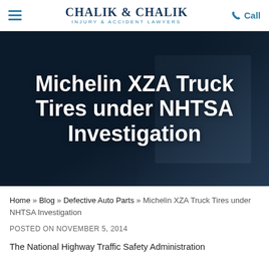CHALIK & CHALIK INJURY & ACCIDENT LAWYERS | Call
Michelin XZA Truck Tires under NHTSA Investigation
Home » Blog » Defective Auto Parts » Michelin XZA Truck Tires under NHTSA Investigation
POSTED ON NOVEMBER 5, 2014
The National Highway Traffic Safety Administration